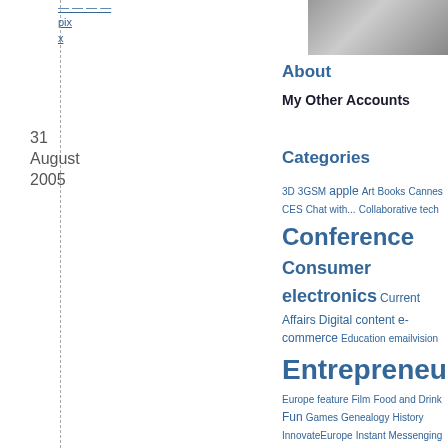[Figure (photo): Partial black and white photo of a person in upper right corner]
pix
x
31
August
2005
About
My Other Accounts
Categories
3D 3GSM apple Art Books Cannes CES Chat with... Collaborative tech Conference Consumer electronics Current Affairs Digital content e-commerce Education emailvision Entrepreneurship Europe feature Film Food and Drink Fun Games Genealogy History InnovateEurope Instant Messenging LCI Radio LesBlog Lifestyle listing mac Maps Marketing Mobility MoMo MVNO Offline Open source ORLM osx PDC05 Photography podcast Politics Press RodrigoSepulvedaShow Search Second Life Social net Software Sports techcrunch7 Television thenextweb Travel